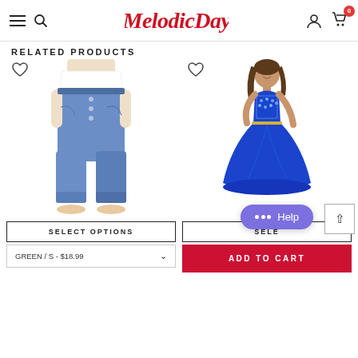[Figure (screenshot): MelodicDay e-commerce website header with hamburger menu, search icon, logo, user icon, and cart icon with badge showing 0]
RELATED PRODUCTS
[Figure (photo): Woman wearing casual blue boyfriend jeans with button fly, rolled cuffs, and white top]
[Figure (photo): Woman in royal blue formal prom gown with jeweled halter neck bodice and flowing chiffon skirt]
SELECT OPTIONS
SELE
GREEN / S - $18.99
ADD TO CART
Help